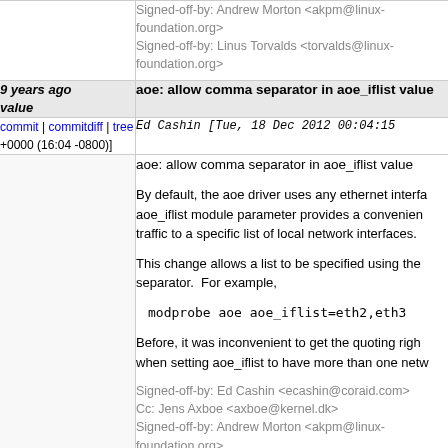Signed-off-by: Andrew Morton <akpm@linux-foundation.org>
Signed-off-by: Linus Torvalds <torvalds@linux-foundation.org>
9 years ago
value
aoe: allow comma separator in aoe_iflist value
commit | commitdiff | tree
+0000 (16:04 -0800)]
Ed Cashin [Tue, 18 Dec 2012 00:04:15 +0000 (16:04 -0800)]
aoe: allow comma separator in aoe_iflist value

By default, the aoe driver uses any ethernet interfa aoe_iflist module parameter provides a convenien traffic to a specific list of local network interfaces.

This change allows a list to be specified using the separator.  For example,

  modprobe aoe aoe_iflist=eth2,eth3

Before, it was inconvenient to get the quoting righ when setting aoe_iflist to have more than one netw

Signed-off-by: Ed Cashin <ecashin@coraid.com>
Cc: Jens Axboe <axboe@kernel.dk>
Signed-off-by: Andrew Morton <akpm@linux-foundation.org>